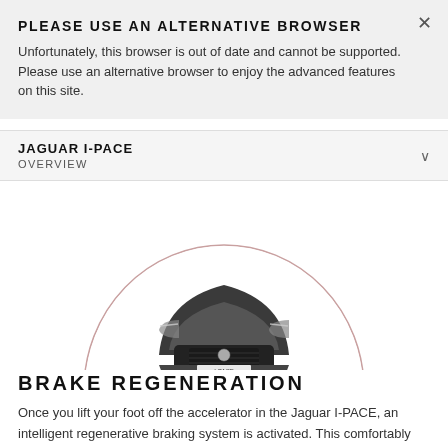PLEASE USE AN ALTERNATIVE BROWSER
Unfortunately, this browser is out of date and cannot be supported. Please use an alternative browser to enjoy the advanced features on this site.
JAGUAR I-PACE OVERVIEW
[Figure (photo): Front view of a Jaguar I-PACE electric vehicle shown within a circular frame with a pink/rose border arc. The car is dark grey/black, facing head-on.]
BRAKE REGENERATION
Once you lift your foot off the accelerator in the Jaguar I-PACE, an intelligent regenerative braking system is activated. This comfortably slows the vehicle while converting the power generated to optimize the battery's range.10